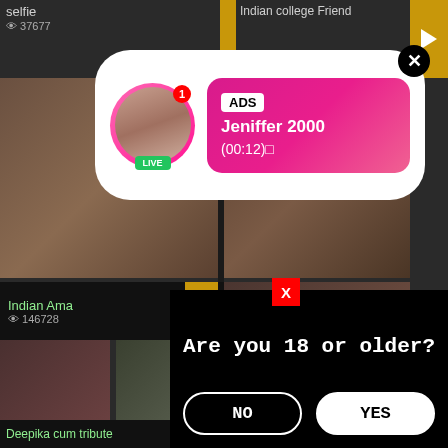selfie
37677
Indian college Friend
[Figure (screenshot): Adult video thumbnail grid with overlaid popups including an ADS live notification for 'Jeniffer 2000', age verification modals asking 'Are you 18 or older?' with NO and YES buttons, and a red X close button]
Indian Ama
146728
ADS
Jeniffer 2000
(00:12)
Are you 18 or older?
NO
YES
Are you 18 or older?
NO
YES
Deepika cum tribute
INDIAN GANGBANG